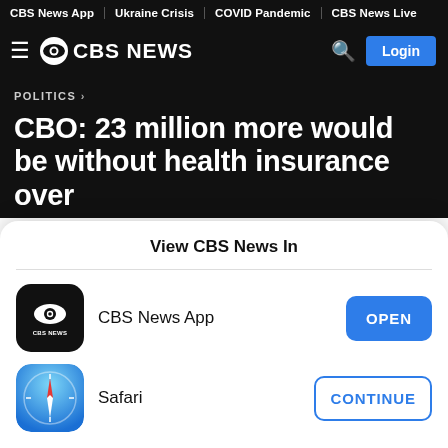CBS News App | Ukraine Crisis | COVID Pandemic | CBS News Live
[Figure (logo): CBS News logo with hamburger menu, CBS eye icon, CBS NEWS text, search icon, and Login button]
POLITICS >
CBO: 23 million more would be without health insurance over
View CBS News In
[Figure (logo): CBS News App icon - black square with CBS eye logo and CBS NEWS text]
CBS News App
OPEN
[Figure (logo): Safari browser icon - blue compass on gradient background]
Safari
CONTINUE